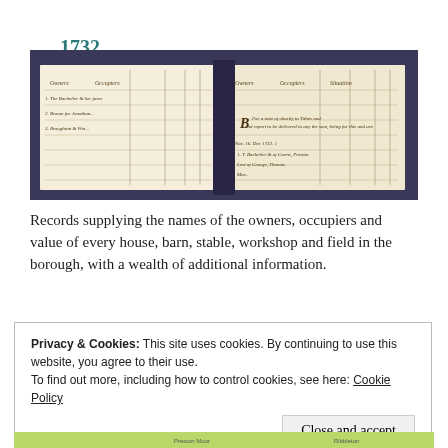1732 Preston Poor Tax Survey
[Figure (photo): Photograph of an open historical ledger book showing handwritten columns and entries from the 1732 Preston Poor Tax Survey, with ruled lines and cursive script on aged paper.]
Records supplying the names of the owners, occupiers and value of every house, barn, stable, workshop and field in the borough, with a wealth of additional information.
Privacy & Cookies: This site uses cookies. By continuing to use this website, you agree to their use.
To find out more, including how to control cookies, see here: Cookie Policy
Close and accept
[Figure (map): Partial view of a map of Preston at the bottom of the page.]